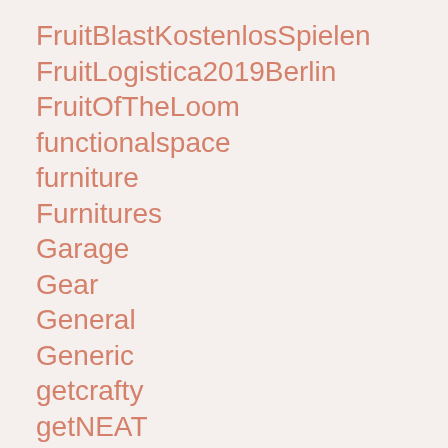FruitBlastKostenlosSpielen
FruitLogistica2019Berlin
FruitOfTheLoom
functionalspace
furniture
Furnitures
Garage
Gear
General
Generic
getcrafty
getNEAT
GetOrganized
gettingcrafty